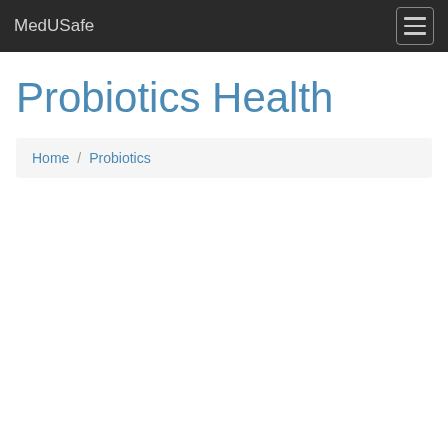MedUSafe
Probiotics Health
Home / Probiotics